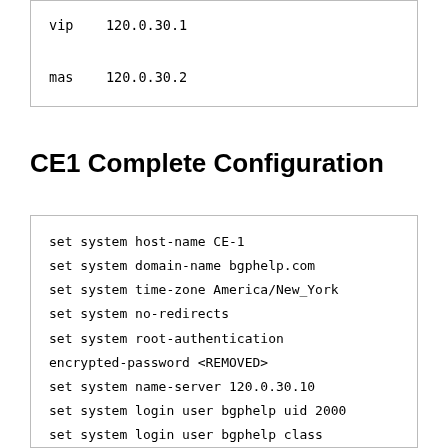vip    120.0.30.1

mas    120.0.30.2
CE1 Complete Configuration
set system host-name CE-1
set system domain-name bgphelp.com
set system time-zone America/New_York
set system no-redirects
set system root-authentication
encrypted-password <REMOVED>
set system name-server 120.0.30.10
set system login user bgphelp uid 2000
set system login user bgphelp class
super-user